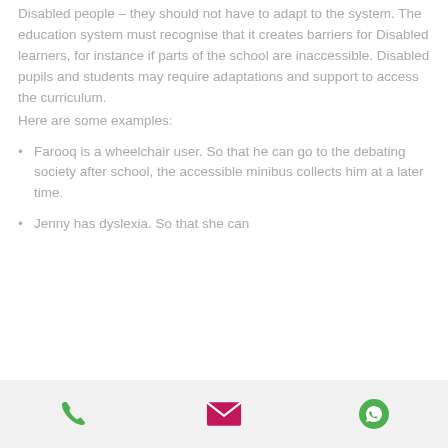Disabled people – they should not have to adapt to the system. The education system must recognise that it creates barriers for Disabled learners, for instance if parts of the school are inaccessible. Disabled pupils and students may require adaptations and support to access the curriculum.
Here are some examples:
Farooq is a wheelchair user. So that he can go to the debating society after school, the accessible minibus collects him at a later time.
Jenny has dyslexia. So that she can
[Figure (infographic): Footer bar with three icons: phone (green), email/envelope (magenta/pink), and WhatsApp (green)]